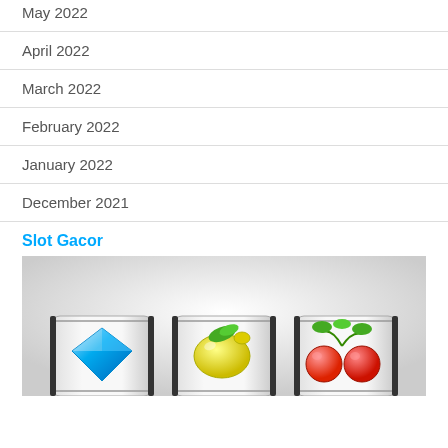May 2022
April 2022
March 2022
February 2022
January 2022
December 2021
Slot Gacor
[Figure (illustration): Slot machine reels showing a blue diamond, yellow lemon, and red cherries on a grey gradient background]